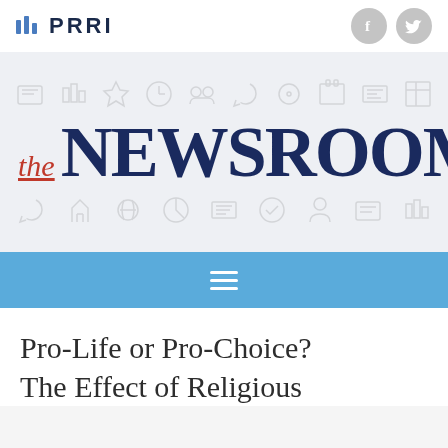PRRI
[Figure (logo): PRRI logo with bar chart icon and bold text PRRI, plus Facebook and Twitter social icons]
the NEWSROOM
[Figure (infographic): Decorative row of small gray outline icons above and below the NEWSROOM title]
☰ navigation menu icon on blue bar
Pro-Life or Pro-Choice? The Effect of Religious